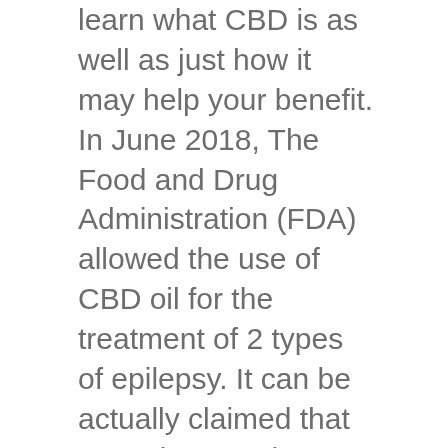learn what CBD is as well as just how it may help your benefit. In June 2018, The Food and Drug Administration (FDA) allowed the use of CBD oil for the treatment of 2 types of epilepsy. It can be actually claimed that CBD does work as much as the therapy of some certain disorders or health conditions is concerned. Allow’s discover even more.
What is actually CBD oil?
CBD performs the list of several materials called cannabinoids located in the marijuana vegetation. Lots of research studies have actually been performed to learn various restorative uses of this oil.
Generally, over at this website
has centered kind of CBD. Nevertheless, it is very important to remember that the attentions as well as their make uses of vary. Therefore, you might would